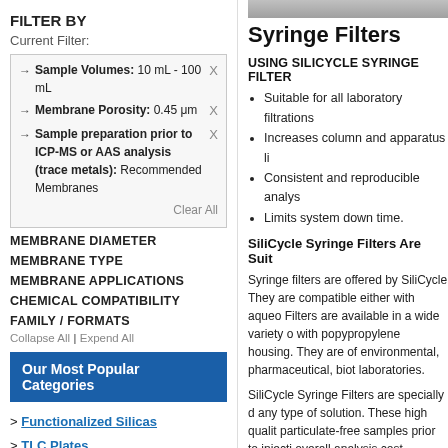FILTER BY
Current Filter:
→ Sample Volumes: 10 mL - 100 mL X
→ Membrane Porosity: 0.45 μm X
→ Sample preparation prior to ICP-MS or AAS analysis (trace metals): Recommended Membranes X
Clear All
MEMBRANE DIAMETER
MEMBRANE TYPE
MEMBRANE APPLICATIONS
CHEMICAL COMPATIBILITY
FAMILY / FORMATS
Collapse All | Expend All
Our Most Popular Categories
> Functionalized Silicas
> TLC Plates
> Metal Scavengers
> Sample Preparation
[Figure (photo): Partial photo of syringe filter product at top of right column]
Syringe Filters
USING SILICYCLE SYRINGE FILTER
Suitable for all laboratory filtrations
Increases column and apparatus li
Consistent and reproducible analys
Limits system down time.
SiliCycle Syringe Filters Are Suit
Syringe filters are offered by SiliCycle They are compatible either with aqueo Filters are available in a wide variety o with popypropylene housing. They are of environmental, pharmaceutical, biot laboratories.
SiliCycle Syringe Filters are specially d any type of solution. These high qualit particulate-free samples prior to injecti overall analysis cost.
[Figure (engineering-diagram): Diagram of syringe filter cross-section with labels A, B, C, D and text 'A: I... Mem...']